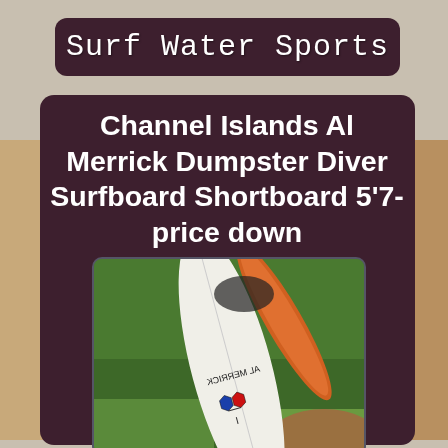Surf Water Sports
Channel Islands Al Merrick Dumpster Diver Surfboard Shortboard 5'7- price down
[Figure (photo): Photo of a Channel Islands Al Merrick surfboard (white shortboard with blue and red hexagonal logos) lying on green grass, with an orange surfboard visible behind it.]